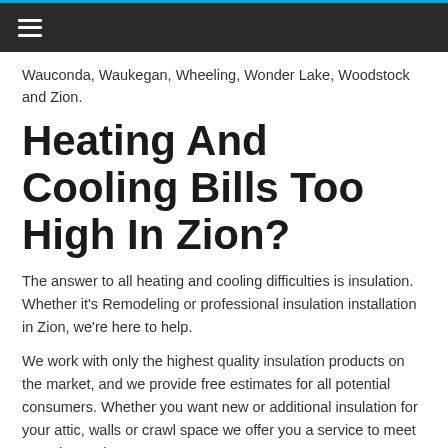≡
Wauconda, Waukegan, Wheeling, Wonder Lake, Woodstock and Zion.
Heating And Cooling Bills Too High In Zion?
The answer to all heating and cooling difficulties is insulation. Whether it's Remodeling or professional insulation installation in Zion, we're here to help.
We work with only the highest quality insulation products on the market, and we provide free estimates for all potential consumers. Whether you want new or additional insulation for your attic, walls or crawl space we offer you a service to meet your demands.